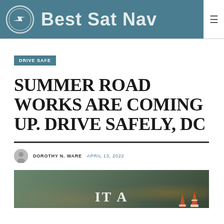Best Sat Nav
DRIVE SAFE
SUMMER ROAD WORKS ARE COMING UP. DRIVE SAFELY, DC
DOROTHY N. WARE   APRIL 13, 2022
[Figure (photo): Photo of road works scene with construction workers, traffic cones, and a person in foreground. Overlay text reads 'IT A'.]